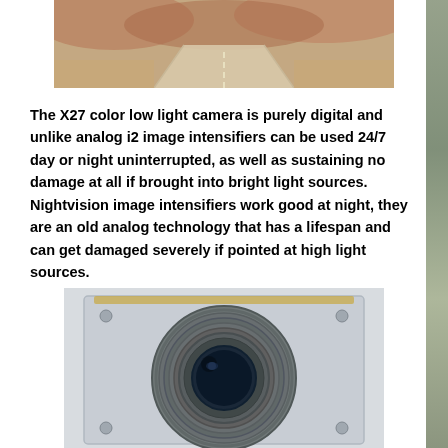[Figure (photo): Aerial/road-level view of a desert dirt road with sandy terrain and reddish rocky hills in the background.]
The X27 color low light camera is purely digital and unlike analog i2 image intensifiers can be used 24/7 day or night uninterrupted, as well as sustaining no damage at all if brought into bright light sources. Nightvision image intensifiers work good at night, they are an old analog technology that has a lifespan and can get damaged severely if pointed at high light sources.
[Figure (photo): Close-up photo of the front of the X27 camera showing a large circular lens housing with ridged/ribbed metal ring mounted on a silver metal plate.]